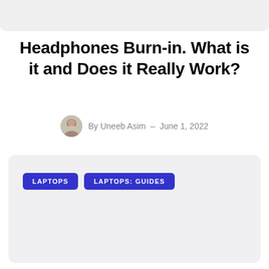Headphones Burn-in. What is it and Does it Really Work?
By Uneeb Asim  –  June 1, 2022
LAPTOPS   LAPTOPS: GUIDES